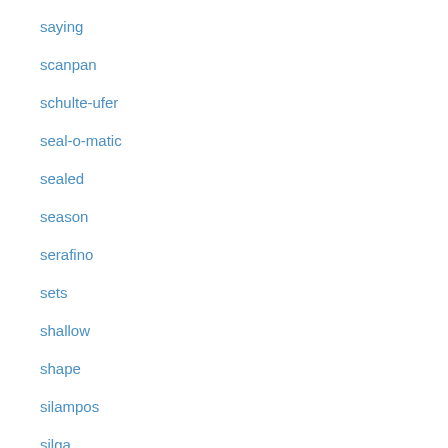saying
scanpan
schulte-ufer
seal-o-matic
sealed
season
serafino
sets
shallow
shape
silampos
silga
silver
simply